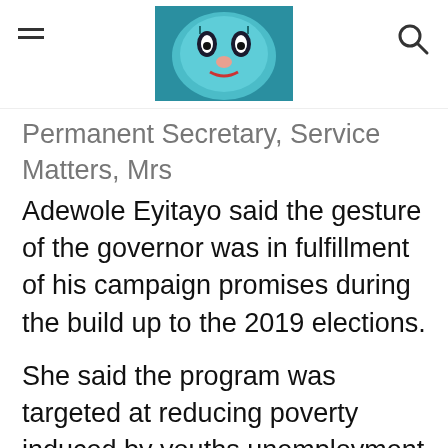[Navigation bar with hamburger menu, logo/image, and search icon]
Permanent Secretary, Service Matters, Mrs Adewole Eyitayo said the gesture of the governor was in fulfillment of his campaign promises during the build up to the 2019 elections.
She said the program was targeted at reducing poverty induced by youths unemployment and it would cover a large number of beneficiaries across Oyo State.
“As a new administration that came on board less than three months